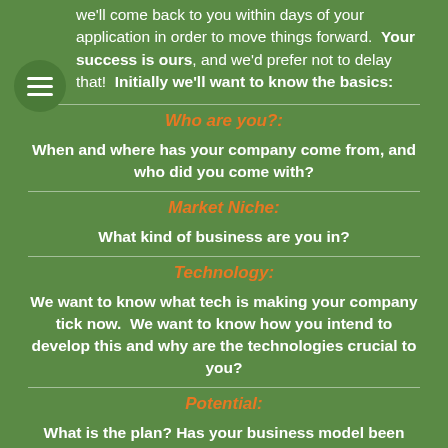we'll come back to you within days of your application in order to move things forward.  Your success is ours, and we'd prefer not to delay that!  Initially we'll want to know the basics:
Who are you?:
When and where has your company come from, and who did you come with?
Market Niche:
What kind of business are you in?
Technology:
We want to know what tech is making your company tick now.  We want to know how you intend to develop this and why are the technologies crucial to you?
Potential:
What is the plan? Has your business model been validated?  Are you generating revenue?  Have you received funding?